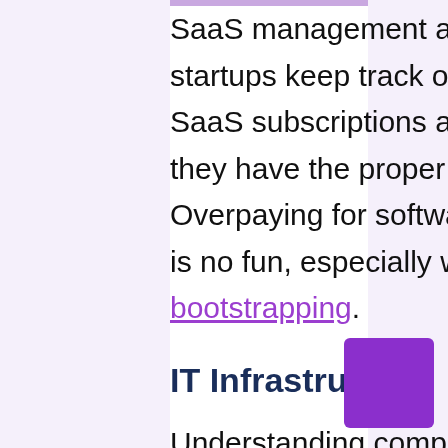SaaS management also helps startups keep track of all their SaaS subscriptions and ensure they have the proper licenses. Overpaying for software licenses is no fun, especially when you're bootstrapping.
IT Infrastructure
Understanding complex network infrastructure is a core competency for any professional service provider. When start-ups